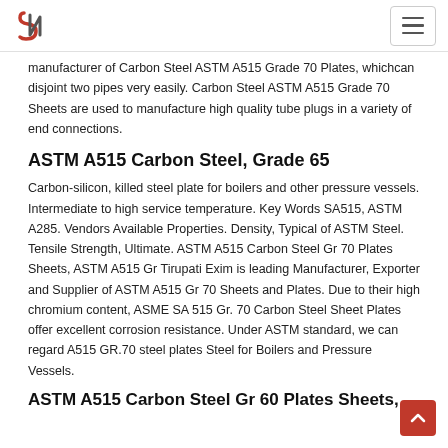[Logo] [Navigation menu icon]
manufacturer of Carbon Steel ASTM A515 Grade 70 Plates, whichcan disjoint two pipes very easily. Carbon Steel ASTM A515 Grade 70 Sheets are used to manufacture high quality tube plugs in a variety of end connections.
ASTM A515 Carbon Steel, Grade 65
Carbon-silicon, killed steel plate for boilers and other pressure vessels. Intermediate to high service temperature. Key Words SA515, ASTM A285. Vendors Available Properties. Density, Typical of ASTM Steel. Tensile Strength, Ultimate. ASTM A515 Carbon Steel Gr 70 Plates Sheets, ASTM A515 Gr Tirupati Exim is leading Manufacturer, Exporter and Supplier of ASTM A515 Gr 70 Sheets and Plates. Due to their high chromium content, ASME SA 515 Gr. 70 Carbon Steel Sheet Plates offer excellent corrosion resistance. Under ASTM standard, we can regard A515 GR.70 steel plates Steel for Boilers and Pressure Vessels.
ASTM A515 Carbon Steel Gr 60 Plates Sheets,